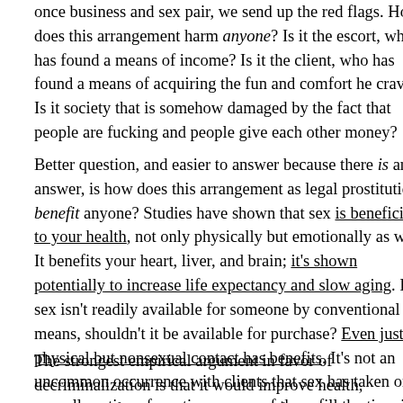once business and sex pair, we send up the red flags. How does this arrangement harm anyone? Is it the escort, who has found a means of income? Is it the client, who has found a means of acquiring the fun and comfort he craves? Is it society that is somehow damaged by the fact that people are fucking and people give each other money?
Better question, and easier to answer because there is an answer, is how does this arrangement as legal prostitution benefit anyone? Studies have shown that sex is beneficial to your health, not only physically but emotionally as well. It is beneficial to your heart, liver, and brain; it's shown potentially to increase life expectancy and slow aging. If sex isn't readily available for someone by conventional means, shouldn't it be available for purchase? Even just physical but nonsexual contact has benefits. It's not an uncommon occurrence with clients that sex has taken only a small portion of our time; many of these fill the time just lying around, cuddling, talking. Often this has meant more to us if not more so than the actual sex. Many have hired me again, and a few times where we didn't have sex, just curled up and chatted for our time together. Humans are social like dogs; we are meant to sleep in piles and we don't generally like being alone. Society sets up so many limitations on how we acquire the intimacy we need to thrive, from time constraints related to work and other obligations to societal constraints about sex and what we do together. Why ban a perfectly useful and utterly harmless means of achieving it?
The strongest empirical argument in favor of decriminalization is that it would improve health, particularly for sex workers but also for clients. The National Bureau of Research published a paper in 2004, detailing that rates of rape and gonorrhea dropped when Rhode Island decriminalized indoor prostitution in 2003. In that year a state Supreme Court law had decriminalized prostitution in the state, and it took until 2009 for legislators to